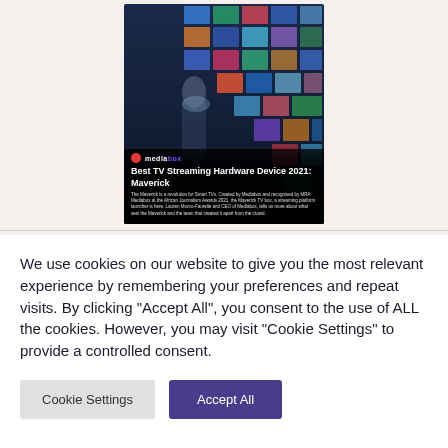[Figure (screenshot): Article card for 'Best TV Streaming Hardware Device 2021: Maverick' from Mediabox. Shows a woman holding a laptop standing in front of a wall of screens displaying various media content. The card has the Mediabox logo (red circle + text) and a bold title with a short paragraph of body text below.]
We use cookies on our website to give you the most relevant experience by remembering your preferences and repeat visits. By clicking "Accept All", you consent to the use of ALL the cookies. However, you may visit "Cookie Settings" to provide a controlled consent.
Cookie Settings
Accept All